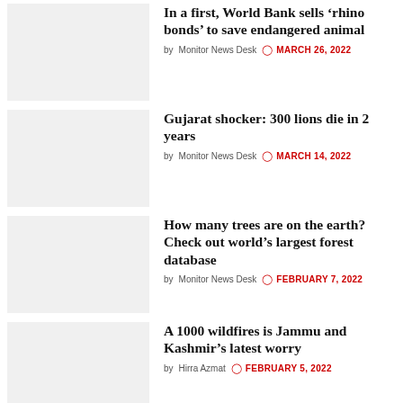In a first, World Bank sells ‘rhino bonds’ to save endangered animal
by Monitor News Desk  MARCH 26, 2022
Gujarat shocker: 300 lions die in 2 years
by Monitor News Desk  MARCH 14, 2022
How many trees are on the earth? Check out world’s largest forest database
by Monitor News Desk  FEBRUARY 7, 2022
A 1000 wildfires is Jammu and Kashmir’s latest worry
by Hirra Azmat  FEBRUARY 5, 2022